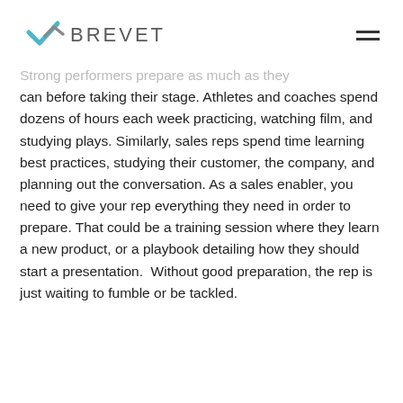BREVET
Strong performers prepare as much as they can before taking their stage. Athletes and coaches spend dozens of hours each week practicing, watching film, and studying plays. Similarly, sales reps spend time learning best practices, studying their customer, the company, and planning out the conversation. As a sales enabler, you need to give your rep everything they need in order to prepare. That could be a training session where they learn a new product, or a playbook detailing how they should start a presentation. Without good preparation, the rep is just waiting to fumble or be tackled.